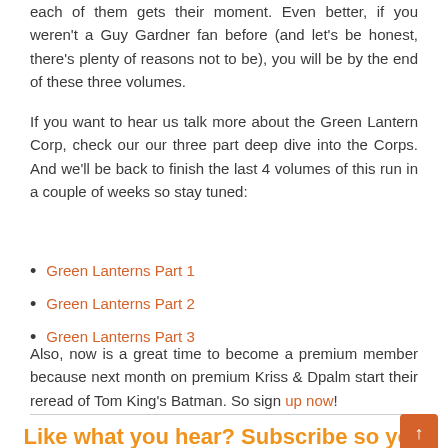each of them gets their moment. Even better, if you weren't a Guy Gardner fan before (and let's be honest, there's plenty of reasons not to be), you will be by the end of these three volumes.
If you want to hear us talk more about the Green Lantern Corp, check our our three part deep dive into the Corps. And we'll be back to finish the last 4 volumes of this run in a couple of weeks so stay tuned:
Green Lanterns Part 1
Green Lanterns Part 2
Green Lanterns Part 3
Also, now is a great time to become a premium member because next month on premium Kriss & Dpalm start their reread of Tom King's Batman. So sign up now!
Like what you hear? Subscribe so you don't miss an episode!